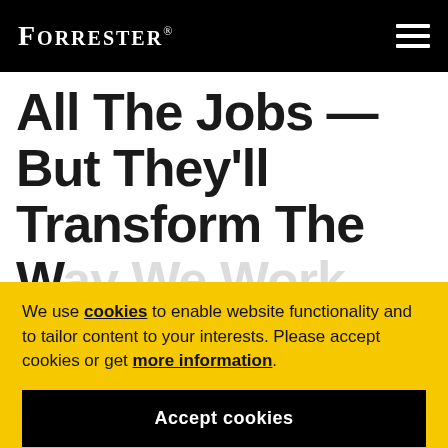FORRESTER®
All The Jobs — But They'll Transform The Way We Work
We use cookies to enable website functionality and to tailor content to your interests. Please accept cookies or get more information.
Accept cookies